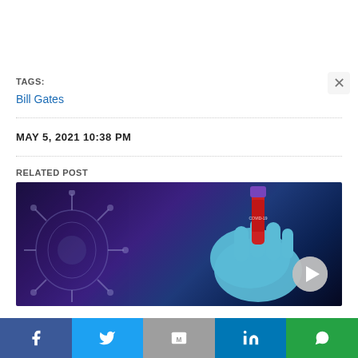TAGS:
Bill Gates
MAY 5, 2021 10:38 PM
RELATED POST
[Figure (photo): A gloved hand holding a COVID-19 test tube vial against a dark purple background with virus imagery]
Social sharing bar: Facebook, Twitter, Gmail, LinkedIn, WhatsApp